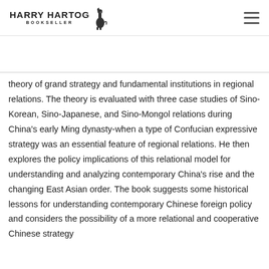Harry Hartog Bookseller
theory of grand strategy and fundamental institutions in regional relations. The theory is evaluated with three case studies of Sino-Korean, Sino-Japanese, and Sino-Mongol relations during China's early Ming dynasty-when a type of Confucian expressive strategy was an essential feature of regional relations. He then explores the policy implications of this relational model for understanding and analyzing contemporary China's rise and the changing East Asian order. The book suggests some historical lessons for understanding contemporary Chinese foreign policy and considers the possibility of a more relational and cooperative Chinese strategy